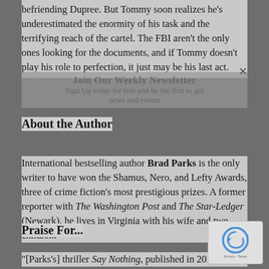befriending Dupree. But Tommy soon realizes he's underestimated the enormity of his task and the terrifying reach of the cartel. The FBI aren't the only ones looking for the documents, and if Tommy doesn't play his role to perfection, it just may be his last act.
About the Author
International bestselling author Brad Parks is the only writer to have won the Shamus, Nero, and Lefty Awards, three of crime fiction's most prestigious prizes. A former reporter with The Washington Post and The Star-Ledger (Newark), he lives in Virginia with his wife and two children.
Praise For...
"[Parks's] thriller Say Nothing, published in 2017, wa...